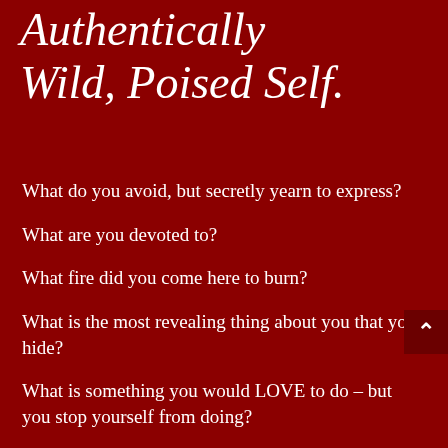Authentically Wild, Poised Self.
What do you avoid, but secretly yearn to express?
What are you devoted to?
What fire did you come here to burn?
What is the most revealing thing about you that you hide?
What is something you would LOVE to do – but you stop yourself from doing?
What job did your soul come here to